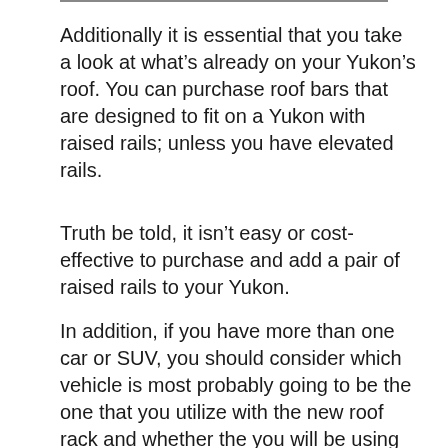Additionally it is essential that you take a look at what’s already on your Yukon’s roof. You can purchase roof bars that are designed to fit on a Yukon with raised rails; unless you have elevated rails.
Truth be told, it isn’t easy or cost-effective to purchase and add a pair of raised rails to your Yukon.
In addition, if you have more than one car or SUV, you should consider which vehicle is most probably going to be the one that you utilize with the new roof rack and whether the you will be using the rack system on any of the other ones. If there is a chance that you will be using the roof rack on more than